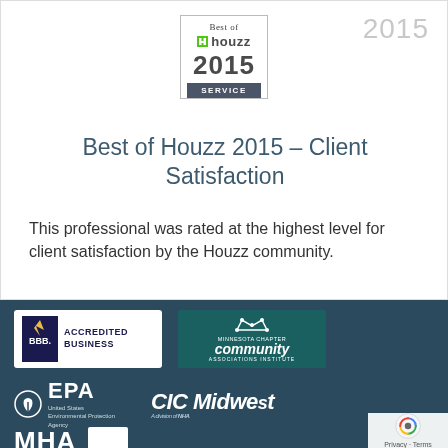[Figure (logo): Best of Houzz 2015 Service badge — bordered box with 'Best of', houzz logo with green h icon, year 2015 in large text, dark SERVICE bar at bottom]
2015
Best of Houzz 2015 – Client Satisfaction
This professional was rated at the highest level for client satisfaction by the Houzz community.
[Figure (logo): Footer section with dark teal background showing: BBB Accredited Business logo (white box), Minnesota Chapter Community Associations Institute logo (teal box), EPA United States Environmental Protection Agency logo, CIC Midwest A division of NHA logo, MHA logo, small white box logo, reCAPTCHA privacy overlay]